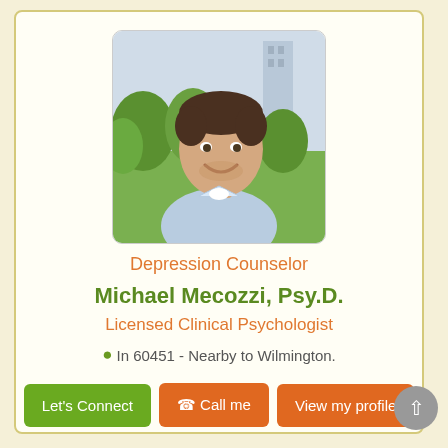[Figure (photo): Headshot photo of Michael Mecozzi, a man with short brown hair, smiling, wearing a light blue shirt, outdoors with green trees and a building in background]
Depression Counselor
Michael Mecozzi, Psy.D.
Licensed Clinical Psychologist
In 60451 - Nearby to Wilmington.
Let's Connect
Call me
View my profile